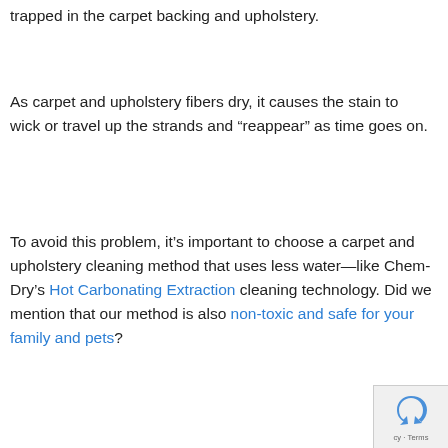trapped in the carpet backing and upholstery.
As carpet and upholstery fibers dry, it causes the stain to wick or travel up the strands and “reappear” as time goes on.
To avoid this problem, it’s important to choose a carpet and upholstery cleaning method that uses less water—like Chem-Dry’s Hot Carbonating Extraction cleaning technology. Did we mention that our method is also non-toxic and safe for your family and pets?